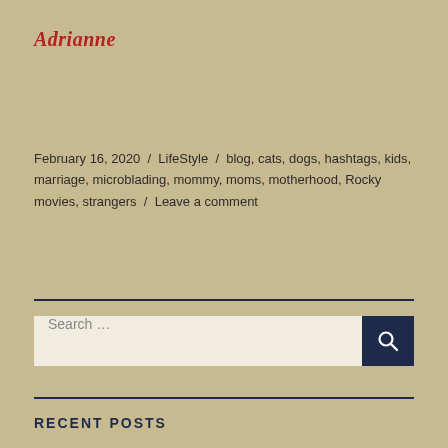Adrianne
February 16, 2020 / LifeStyle / blog, cats, dogs, hashtags, kids, marriage, microblading, mommy, moms, motherhood, Rocky movies, strangers / Leave a comment
Search ...
RECENT POSTS